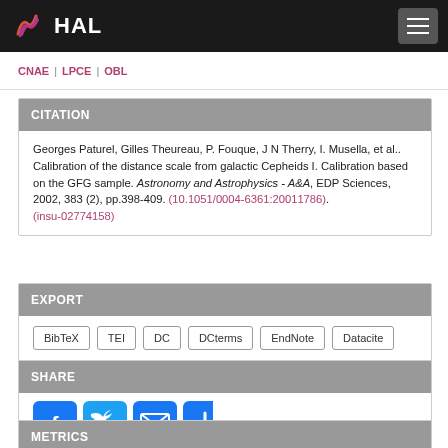HAL
CNAE | LPCE | OBL
CITATION
Georges Paturel, Gilles Theureau, P. Fouque, J N Therry, I. Musella, et al.. Calibration of the distance scale from galactic Cepheids I. Calibration based on the GFG sample. Astronomy and Astrophysics - A&A, EDP Sciences, 2002, 383 (2), pp.398-409. (10.1051/0004-6361:20011786). (insu-02774158)
EXPORT
BibTeX
TEI
DC
DCterms
EndNote
Datacite
SHARE
[Figure (infographic): Social share buttons: Facebook, Twitter, Email, Plus]
METRICS